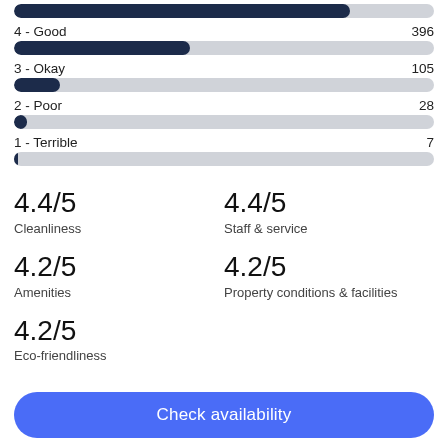[Figure (bar-chart): Rating distribution]
4.4/5
Cleanliness
4.4/5
Staff & service
4.2/5
Amenities
4.2/5
Property conditions & facilities
4.2/5
Eco-friendliness
Check availability